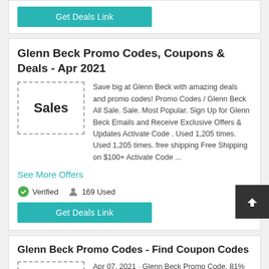[Figure (other): Teal 'Get Deals Link' button at top of page]
Glenn Beck Promo Codes, Coupons & Deals - Apr 2021
[Figure (other): Dashed border box with text 'Sales' inside]
Save big at Glenn Beck with amazing deals and promo codes! Promo Codes / Glenn Beck All Sale. Sale. Most Popular. Sign Up for Glenn Beck Emails and Receive Exclusive Offers & Updates Activate Code . Used 1,205 times. Used 1,205 times. free shipping Free Shipping on $100+ Activate Code ...
See More Offers
Verified   169 Used
[Figure (other): Teal 'Get Deals Link' button]
[Figure (other): Dark back-to-top arrow button]
Glenn Beck Promo Codes - Find Coupon Codes
Apr 07, 2021 · Glenn Beck Promo Code. 81% off (7 days ago) Glenn Beck Promo Code can offer you many choices to save money thanks to 21 active results. You